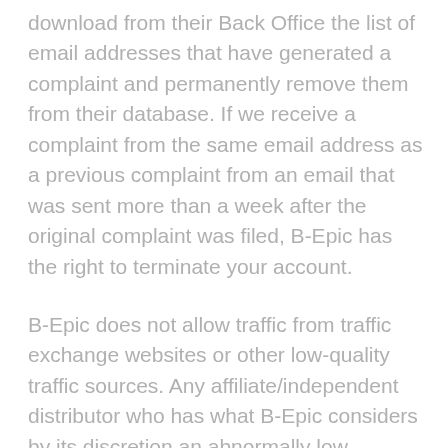download from their Back Office the list of email addresses that have generated a complaint and permanently remove them from their database. If we receive a complaint from the same email address as a previous complaint from an email that was sent more than a week after the original complaint was filed, B-Epic has the right to terminate your account.
B-Epic does not allow traffic from traffic exchange websites or other low-quality traffic sources. Any affiliate/independent distributor who has what B-Epic considers by its discretion an abnormally low conversion rate from hits to their landing